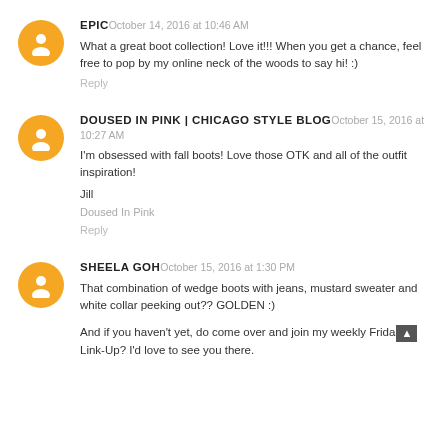EPIC October 14, 2016 at 10:46 AM
What a great boot collection! Love it!!! When you get a chance, feel free to pop by my online neck of the woods to say hi! :)
Reply
DOUSED IN PINK | CHICAGO STYLE BLOG October 15, 2016 at 10:27 AM
I'm obsessed with fall boots! Love those OTK and all of the outfit inspiration!
Jill
Doused In Pink
Reply
SHEELA GOH October 15, 2016 at 1:30 PM
That combination of wedge boots with jeans, mustard sweater and white collar peeking out?? GOLDEN :)
And if you haven't yet, do come over and join my weekly Friday Link-Up? I'd love to see you there.